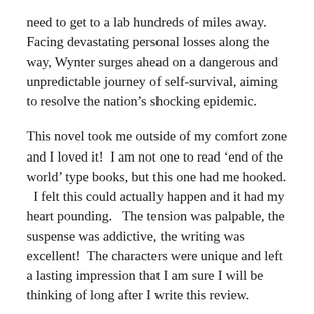need to get to a lab hundreds of miles away. Facing devastating personal losses along the way, Wynter surges ahead on a dangerous and unpredictable journey of self-survival, aiming to resolve the nation’s shocking epidemic.
This novel took me outside of my comfort zone and I loved it!  I am not one to read ‘end of the world’ type books, but this one had me hooked.   I felt this could actually happen and it had my heart pounding.   The tension was palpable, the suspense was addictive, the writing was excellent!  The characters were unique and left a lasting impression that I am sure I will be thinking of long after I write this review.